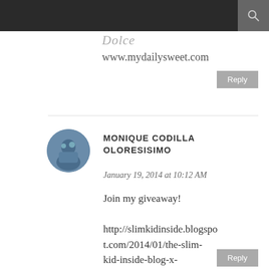Dolce
www.mydailysweet.com
Reply
MONIQUE CODILLA OLORESISIMO
January 19, 2014 at 10:12 AM
Join my giveaway!

http://slimkidinside.blogspot.com/2014/01/the-slim-kid-inside-blog-x-dresslily.html
Reply